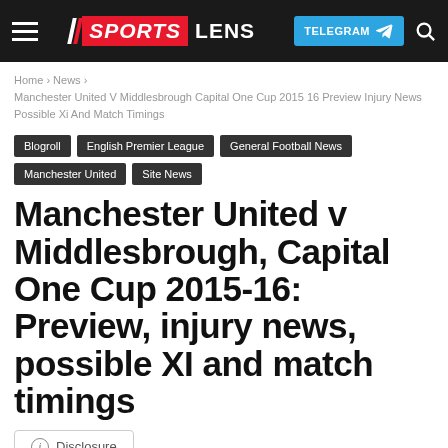Sports Lens — TELEGRAM
Home › News › Manchester United V Middlesbrough Capital One Cup 2015 16 Preview Injury News Possible Xi And Match Timings
Blogroll
English Premier League
General Football News
Manchester United
Site News
Manchester United v Middlesbrough, Capital One Cup 2015-16: Preview, injury news, possible XI and match timings
Disclosure
Updated 7 years ago on 27 October, 2015
By Chris David